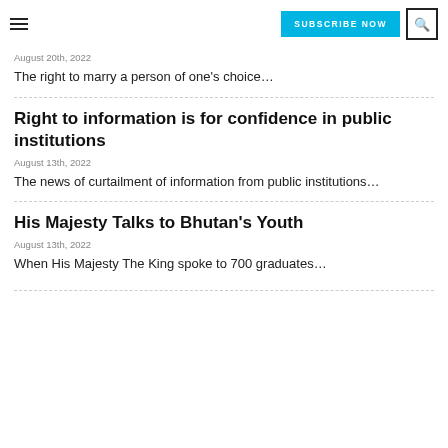SUBSCRIBE NOW | search
August 20th, 2022
The right to marry a person of one's choice…
Right to information is for confidence in public institutions
August 13th, 2022
The news of curtailment of information from public institutions…
His Majesty Talks to Bhutan's Youth
August 13th, 2022
When His Majesty The King spoke to 700 graduates…